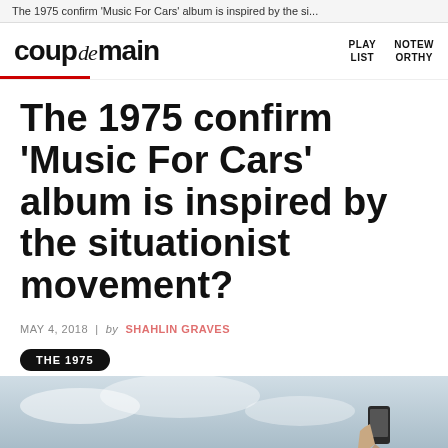The 1975 confirm 'Music For Cars' album is inspired by the si...
coup de main  PLAY LIST  NOTEWORTHY
The 1975 confirm 'Music For Cars' album is inspired by the situationist movement?
MAY 4, 2018 | by SHAHLIN GRAVES
THE 1975
[Figure (photo): Sky background with a hand holding a phone at the bottom right]